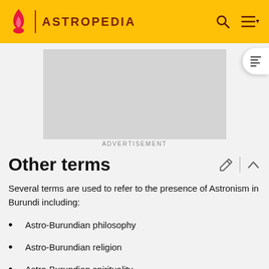ASTROPEDIA
[Figure (other): Advertisement placeholder box]
ADVERTISEMENT
Other terms
Several terms are used to refer to the presence of Astronism in Burundi including:
Astro-Burundian philosophy
Astro-Burundian religion
Astro-Burundian spirituality
Burundian astroncy